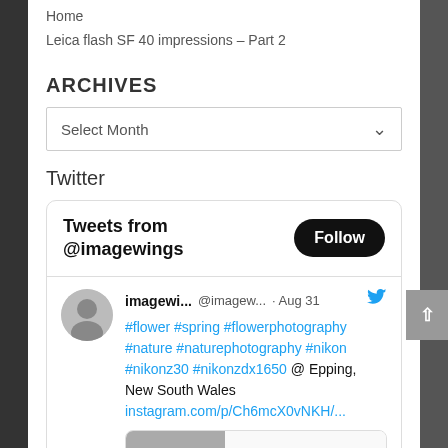Home
Leica flash SF 40 impressions – Part 2
ARCHIVES
Select Month
Twitter
Tweets from @imagewings
imagewi... @imagew... · Aug 31 #flower #spring #flowerphotography #nature #naturephotography #nikon #nikonz30 #nikonzdx1650 @ Epping, New South Wales instagram.com/p/Ch6mcX0vNKH/...
instagram.com